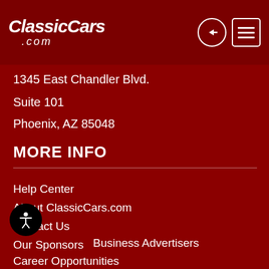ClassicCars.com
1345 East Chandler Blvd.
Suite 101
Phoenix, AZ 85048
MORE INFO
Help Center
About ClassicCars.com
Contact Us
Our Sponsors
Business Advertisers
Career Opportunities
Read The Journal